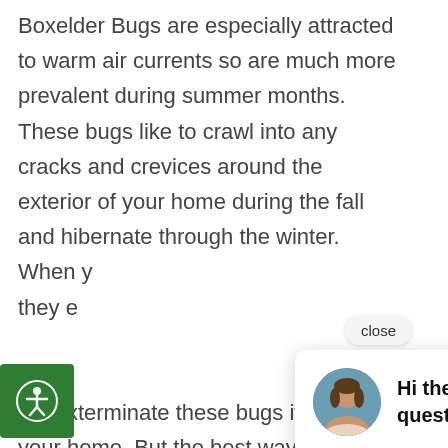Boxelder Bugs are especially attracted to warm air currents so are much more prevalent during summer months. These bugs like to crawl into any cracks and crevices around the exterior of your home during the fall and hibernate through the winter. When y… they e… An ec… will exterminate these bugs if they're in your home. But the best way to combat these pests is to prevent them from entering your home in the
[Figure (screenshot): Chat popup with avatar of a woman and text: Hi there, have a question? Text us here. Also shows a close button, accessibility icon, scroll-up button, and green chat button.]